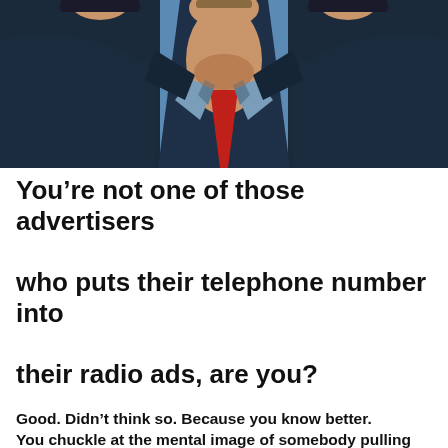[Figure (photo): Symmetrical/mirrored artistic image of a person in a suit and red tie, with face partially visible at top, creating a kaleidoscope-like effect against a blue background.]
You’re not one of those advertisers who puts their telephone number into their radio ads, are you?
Good. Didn’t think so. Because you know better. You chuckle at the mental image of somebody pulling over as they’re driving down the road, scrambling to jot down your number. You know that there are seven to ten other words that